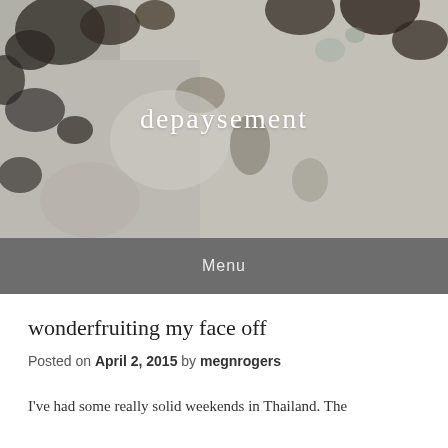[Figure (photo): A close-up photo of weathered stone or concrete surface with mottled black, white, and grey textures, serving as a blog header background image.]
depaysement
Menu
wonderfruiting my face off
Posted on April 2, 2015 by megnrogers
I've had some really solid weekends in Thailand. The